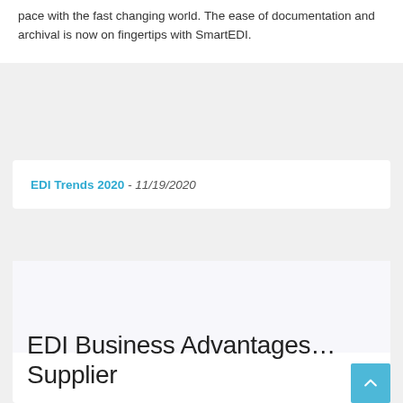pace with the fast changing world. The ease of documentation and archival is now on fingertips with SmartEDI.
EDI Trends 2020 - 11/19/2020
EDI Business Advantages…Supplier